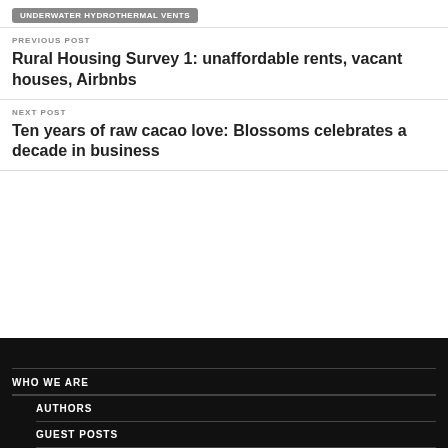UNDERWATER HYDROTHERMAL VENTS
PREVIOUS POST
Rural Housing Survey 1: unaffordable rents, vacant houses, Airbnbs
NEXT POST
Ten years of raw cacao love: Blossoms celebrates a decade in business
WHO WE ARE
AUTHORS
GUEST POSTS